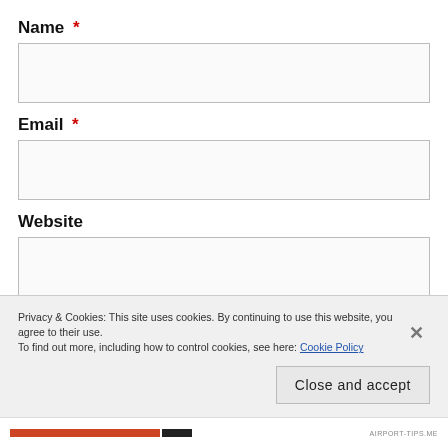Name *
[Figure (other): Empty text input field for Name]
Email *
[Figure (other): Empty text input field for Email]
Website
[Figure (other): Empty text input field for Website]
Privacy & Cookies: This site uses cookies. By continuing to use this website, you agree to their use.
To find out more, including how to control cookies, see here: Cookie Policy
Close and accept